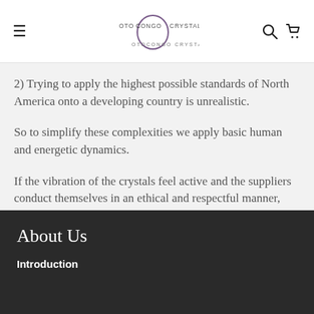Otocongo Crystals
2) Trying to apply the highest possible standards of North America onto a developing country is unrealistic.
So to simplify these complexities we apply basic human and energetic dynamics.
If the vibration of the crystals feel active and the suppliers conduct themselves in an ethical and respectful manner, then we trust they do their best to respect people and Mother Earth.
About Us
Introduction